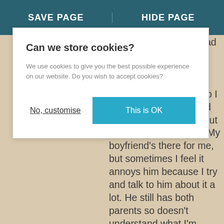SAVE PAGE | HIDE PAGE
Can we store cookies?
We use cookies to give you the best possible experience on our website. Do you wish to accept cookies?
No, customise
This is OK
because her and my dad split up when I was 11 and they were never really on each others good terms after that so I feel really awkward and out of place talking about how I feel to my mum. My boyfriend's there for me, but sometimes I feel it annoys him because I try and talk to him about it a lot. He still has both parents so doesn't understand what I'm going through. Sometimes it gets so bad that I end up hurting myself. I've self harmed